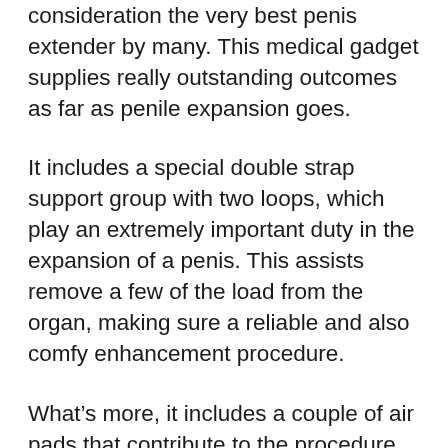consideration the very best penis extender by many. This medical gadget supplies really outstanding outcomes as far as penile expansion goes.
It includes a special double strap support group with two loops, which play an extremely important duty in the expansion of a penis. This assists remove a few of the load from the organ, making sure a reliable and also comfy enhancement procedure.
What’s more, it includes a couple of air pads that contribute to the procedure by boosting breathability and also eliminating the undesirable scent. This can additionally be attributed to the truth that the gadget is made from meticulously chosen products